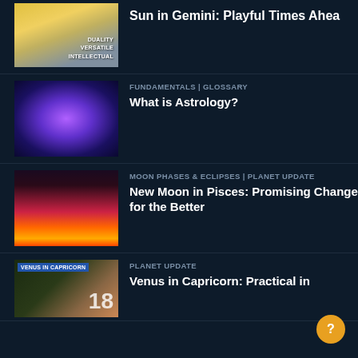[Figure (photo): Two women in yellow outfits standing on a road, with text DUALITY VERSATILE INTELLECTUAL — thumbnail for Sun in Gemini article]
Sun in Gemini: Playful Times Ahea
[Figure (photo): Glowing blue zodiac wheel with astrological symbols — thumbnail for What is Astrology article]
FUNDAMENTALS | GLOSSARY
What is Astrology?
[Figure (photo): Red and orange dramatic sky with crescent moon — thumbnail for New Moon in Pisces article]
MOON PHASES & ECLIPSES | PLANET UPDATE
New Moon in Pisces: Promising Change for the Better
[Figure (photo): Flowers with Venus in Capricorn badge and number 18 — thumbnail for Venus in Capricorn article]
PLANET UPDATE
Venus in Capricorn: Practical in